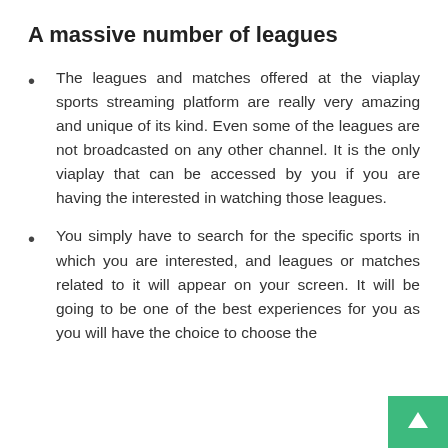A massive number of leagues
The leagues and matches offered at the viaplay sports streaming platform are really very amazing and unique of its kind. Even some of the leagues are not broadcasted on any other channel. It is the only viaplay that can be accessed by you if you are having the interested in watching those leagues.
You simply have to search for the specific sports in which you are interested, and leagues or matches related to it will appear on your screen. It will be going to be one of the best experiences for you as you will have the choice to choose the